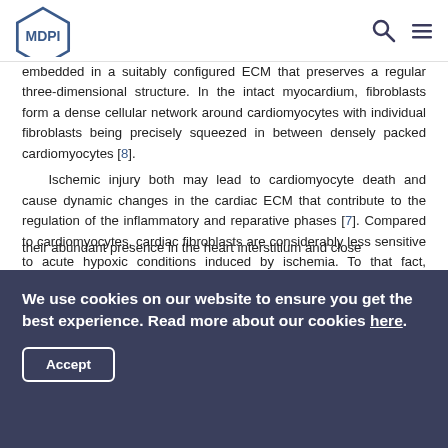MDPI
embedded in a suitably configured ECM that preserves a regular three-dimensional structure. In the intact myocardium, fibroblasts form a dense cellular network around cardiomyocytes with individual fibroblasts being precisely squeezed in between densely packed cardiomyocytes [8].
Ischemic injury both may lead to cardiomyocyte death and cause dynamic changes in the cardiac ECM that contribute to the regulation of the inflammatory and reparative phases [7]. Compared to cardiomyocytes, cardiac fibroblasts are considerably less sensitive to acute hypoxic conditions induced by ischemia. To that fact, fibroblasts are one of the first cardiac cells to sense and respond to heart injury, this is likely due to their abundant presence in the heart interstitium and close
We use cookies on our website to ensure you get the best experience. Read more about our cookies here.
Accept